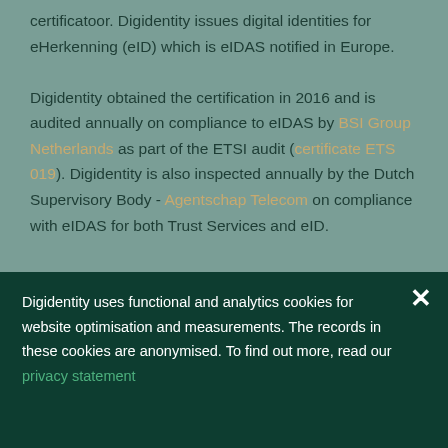certificatoor. Digidentity issues digital identities for eHerkenning (eID) which is eIDAS notified in Europe.

Digidentity obtained the certification in 2016 and is audited annually on compliance to eIDAS by BSI Group Netherlands as part of the ETSI audit (certificate ETS 019). Digidentity is also inspected annually by the Dutch Supervisory Body - Agentschap Telecom on compliance with eIDAS for both Trust Services and eID.
Digidentity uses functional and analytics cookies for website optimisation and measurements. The records in these cookies are anonymised. To find out more, read our privacy statement